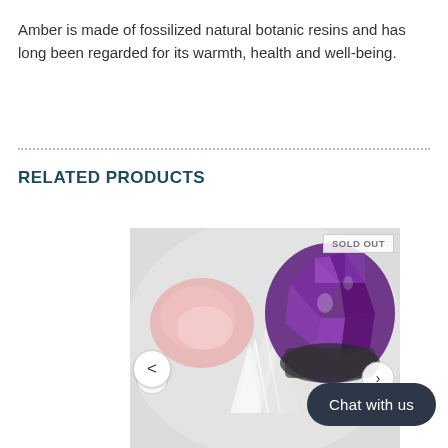Amber is made of fossilized natural botanic resins and has long been regarded for its warmth, health and well-being.
RELATED PRODUCTS
[Figure (photo): Product photo showing crystals and gemstones: rose quartz, amethyst cluster, and white crystal cluster on a light background. A 'SOLD OUT' badge appears in the top right corner. Navigation arrows are visible on the sides.]